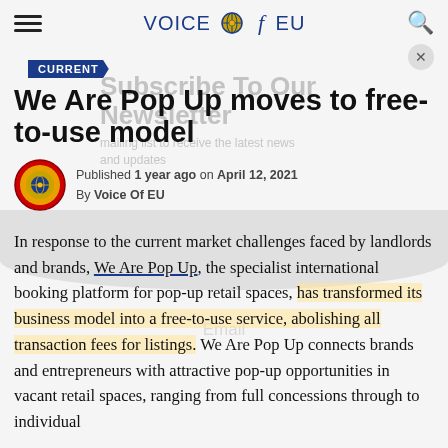VOICE f EU
CURRENT
We Are Pop Up moves to free-to-use model
Published 1 year ago on April 12, 2021
By Voice Of EU
In response to the current market challenges faced by landlords and brands, We Are Pop Up, the specialist international booking platform for pop-up retail spaces, has transformed its business model into a free-to-use service, abolishing all transaction fees for listings. We Are Pop Up connects brands and entrepreneurs with attractive pop-up opportunities in vacant retail spaces, ranging from full concessions through to individual